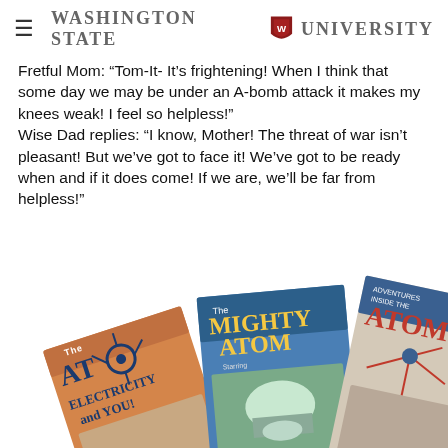Washington State University
Fretful Mom: “Tom-It- It’s frightening! When I think that some day we may be under an A-bomb attack it makes my knees weak! I feel so helpless!” Wise Dad replies: “I know, Mother! The threat of war isn’t pleasant! But we’ve got to face it! We’ve got to be ready when and if it does come! If we are, we’ll be far from helpless!”
[Figure (photo): Three vintage atomic age comic books/pamphlets fanned out: 'The Atom, Electricity and You!', 'The Mighty Atom', and 'Adventures Inside the Atom']